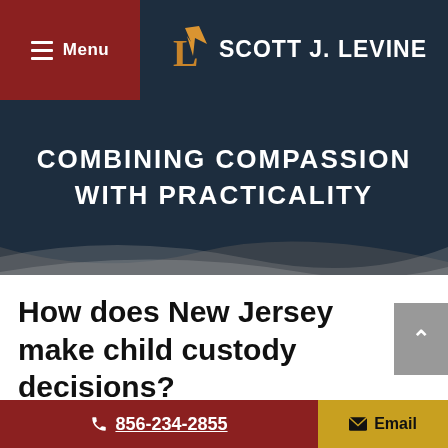Menu | SCOTT J. LEVINE
COMBINING COMPASSION WITH PRACTICALITY
How does New Jersey make child custody decisions?
On Behalf of Scott J. Levine | Mar 1, 2021 | Child Custody And Support |
856-234-2855 | Email